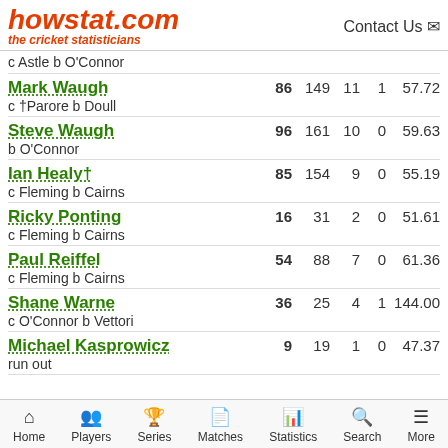howstat.com the cricket statisticians | Contact Us
c Astle b O'Connor
Mark Waugh  86  149  11  1  57.72
c †Parore b Doull
Steve Waugh  96  161  10  0  59.63
b O'Connor
Ian Healy†  85  154  9  0  55.19
c Fleming b Cairns
Ricky Ponting  16  31  2  0  51.61
c Fleming b Cairns
Paul Reiffel  54  88  7  0  61.36
c Fleming b Cairns
Shane Warne  36  25  4  1  144.00
c O'Connor b Vettori
Michael Kasprowicz  9  19  1  0  47.37
run out
Home  Players  Series  Matches  Statistics  Search  More